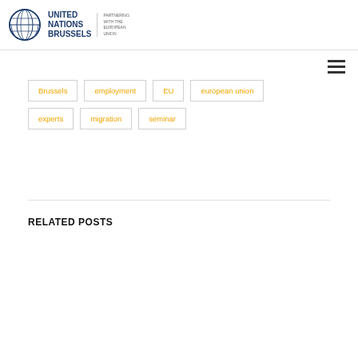UNITED NATIONS BRUSSELS | PARTNERING WITH THE EUROPEAN UNION
Brussels
employment
EU
european union
experts
migration
seminar
RELATED POSTS